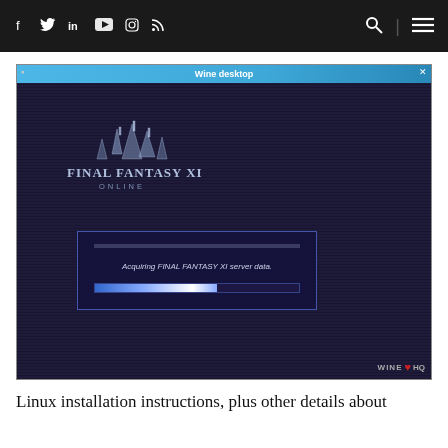Social icons: Facebook, Twitter, LinkedIn, YouTube, Instagram, RSS | Search | Menu
[Figure (screenshot): Wine desktop window showing Final Fantasy XI Online loading screen with a dialog box reading 'Acquiring FINAL FANTASY XI server data.' and a progress bar. The Wine desktop title bar shows 'Wine desktop' and there is a WineHQ logo watermark in the bottom right.]
Linux installation instructions, plus other details about